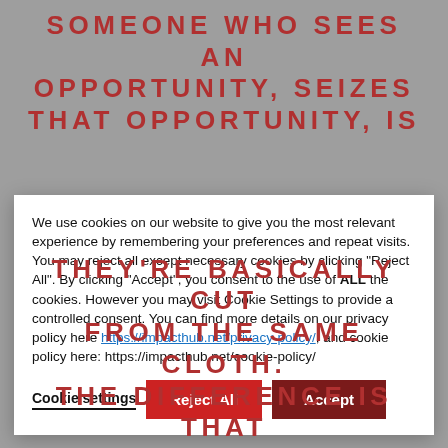SOMEONE WHO SEES AN OPPORTUNITY, SEIZES THAT OPPORTUNITY, IS
[Figure (screenshot): Cookie consent modal dialog with text about cookie usage, a link to privacy policy and cookie policy, and three buttons: Cookie settings, Reject All, Accept]
THEY'RE BASICALLY CUT FROM THE SAME CLOTH. THE DIFFERENCE IS THAT